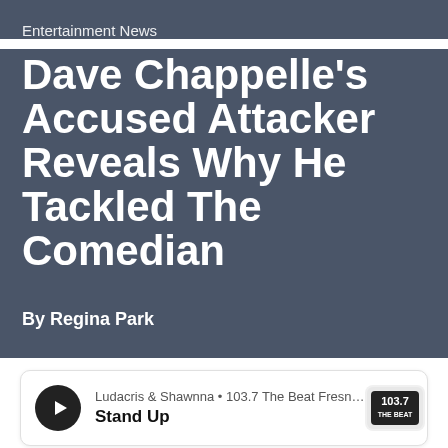Entertainment News
Dave Chappelle's Accused Attacker Reveals Why He Tackled The Comedian
By Regina Park
[Figure (other): Audio player widget showing: Ludacris & Shawnna • 103.7 The Beat Fresno - The Vall... Stand Up, with play button and 103.7 The Beat station logo]
[Figure (other): Bottom content area split into two panels, both light gray, separated by a vertical line]